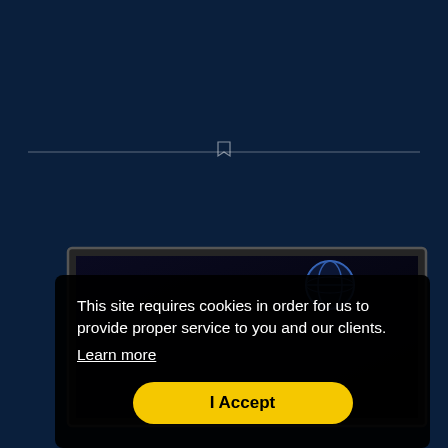commissions since 1998.
[Figure (screenshot): A dark navy blue background with a horizontal divider line and a small bookmark/pin icon in the center, plus a partial view of a computer monitor showing a dark screen with a globe icon.]
This site requires cookies in order for us to provide proper service to you and our clients. Learn more
I Accept